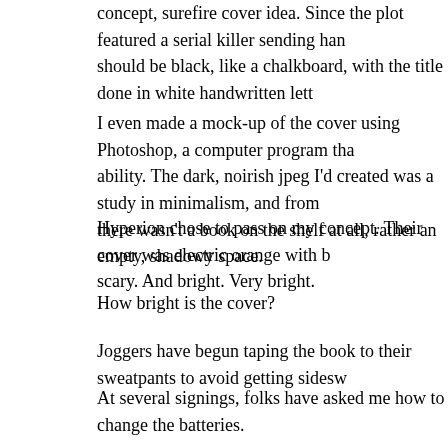concept, surefire cover idea. Since the plot featured a serial killer sending han should be black, like a chalkboard, with the title done in white handwritten let
I even made a mock-up of the cover using Photoshop, a computer program tha ability. The dark, noirish jpeg I'd created was a study in minimalism, and from there wasn't a book on the shelf at all, rather an empty, shadowy space.
Hyperion chose to pass on my concept. Their cover was electric orange with b scary. And bright. Very bright.
How bright is the cover?
Joggers have begun taping the book to their sweatpants to avoid getting sidesw
At several signings, folks have asked me how to change the batteries.
It can be seen from orbit.
As I said, it's bright.
It's also inviting, attractive, and seems to say, "Pick me up, I'm a fast, fun read. for a cover to do.